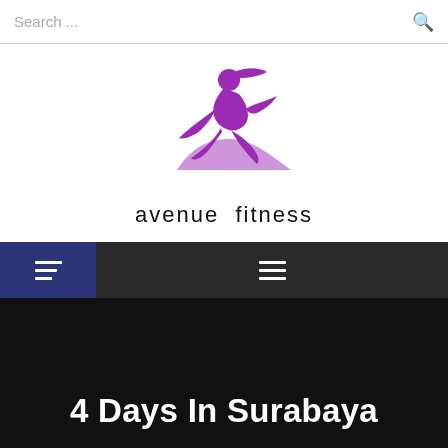Search ...
[Figure (logo): Avenue Fitness logo: purple stylized figure of a woman in a dynamic pose, with text 'avenue fitness' below in black sans-serif]
Navigation bar with hamburger menus
4 Days In Surabaya